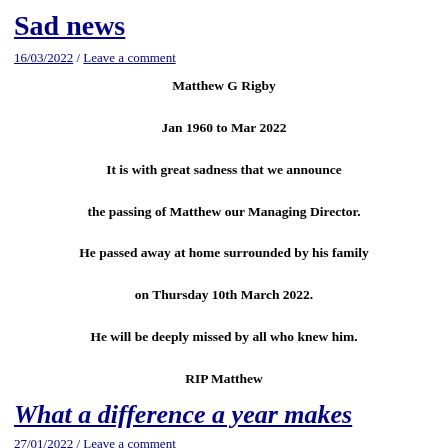Sad news
16/03/2022 / Leave a comment
Matthew G Rigby

Jan 1960 to Mar 2022

It is with great sadness that we announce

the passing of Matthew our Managing Director.

He passed away at home surrounded by his family

on Thursday 10th March 2022.

He will be deeply missed by all who knew him.

RIP Matthew
What a difference a year makes
27/01/2022 / Leave a comment